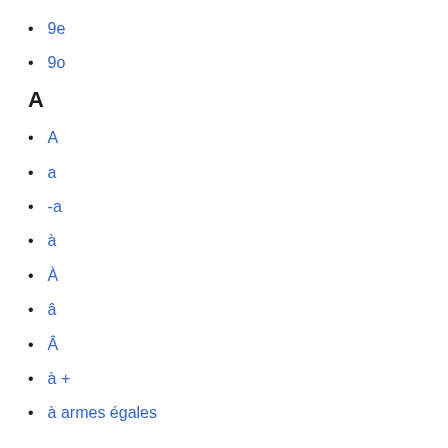9e
9o
A
A
a
-a
à
À
â
Â
à +
à armes égales